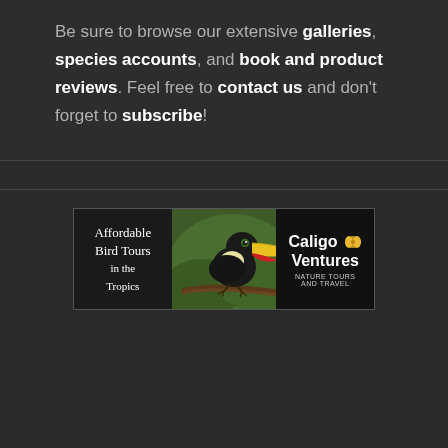Be sure to browse our extensive galleries, species accounts, and book and product reviews. Feel free to contact us and don't forget to subscribe!
[Figure (illustration): Advertisement banner for Caligo Ventures Nature Tours and Travel featuring a toucan perched on a branch, with text 'Affordable Bird Tours in the Tropics' on the left and 'Caligo Ventures Nature Tours and Travel' logo on the right.]